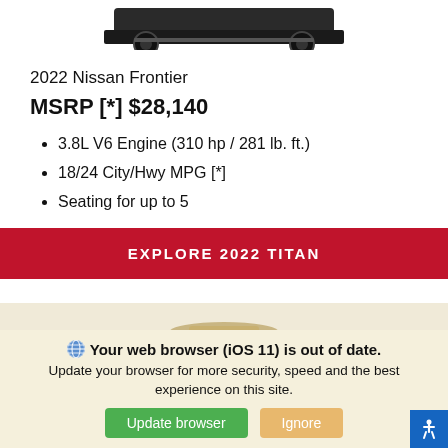[Figure (photo): Partial top view of a 2022 Nissan Frontier pickup truck (dark colored), cropped at the top of the page showing the upper body and wheels.]
2022 Nissan Frontier
MSRP [*] $28,140
3.8L V6 Engine (310 hp / 281 lb. ft.)
18/24 City/Hwy MPG [*]
Seating for up to 5
EXPLORE 2022 TITAN
[Figure (photo): Partial view of another vehicle (appears to be a different model, peeking from the bottom of the page, tan/gold colored).]
Your web browser (iOS 11) is out of date. Update your browser for more security, speed and the best experience on this site.